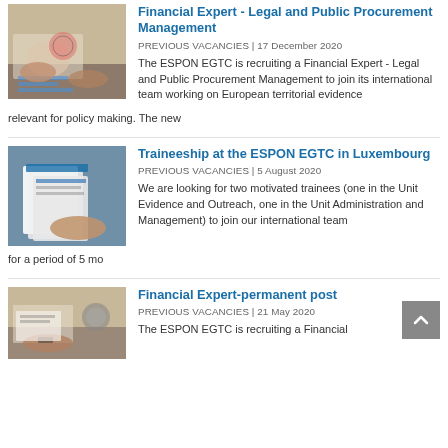[Figure (photo): Hands reviewing charts and documents on a desk]
Financial Expert - Legal and Public Procurement Management
PREVIOUS VACANCIES | 17 December 2020
The ESPON EGTC is recruiting a Financial Expert - Legal and Public Procurement Management to join its international team working on European territorial evidence relevant for policy making. The new
[Figure (photo): Person holding a stack of documents/files]
Traineeship at the ESPON EGTC in Luxembourg
PREVIOUS VACANCIES | 5 August 2020
We are looking for two motivated trainees (one in the Unit Evidence and Outreach, one in the Unit Administration and Management) to join our international team for a period of 5 mo
[Figure (photo): Person at desk with documents and coffee cup]
Financial Expert-permanent post
PREVIOUS VACANCIES | 21 May 2020
The ESPON EGTC is recruiting a Financial